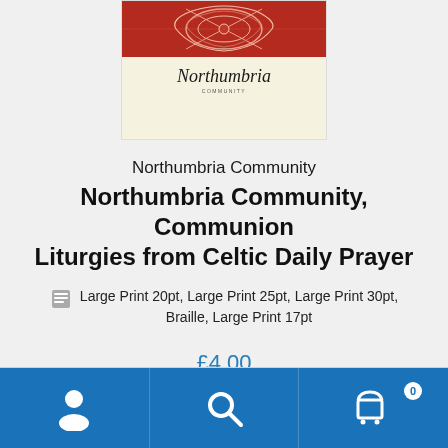[Figure (illustration): Book cover thumbnail for Northumbria Community showing a red Celtic decorative pattern at the top and a handwritten/script Northumbria Community logo below on a cream background]
Northumbria Community
Northumbria Community, Communion Liturgies from Celtic Daily Prayer
Large Print 20pt, Large Print 25pt, Large Print 30pt, Braille, Large Print 17pt
£4.00
Select options
Navigation bar with user, search, and cart (0) icons